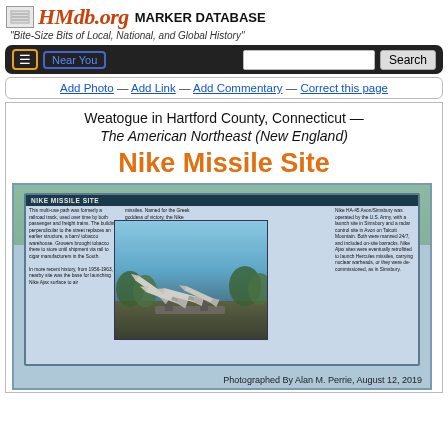HMdb.org MARKER DATABASE
"Bite-Size Bits of Local, National, and Global History"
≡ Near You  Search
Add Photo — Add Link — Add Commentary — Correct this page
Weatogue in Hartford County, Connecticut — The American Northeast (New England)
Nike Missile Site
[Figure (photo): Photograph of a historical marker sign for Nike Missile Site showing text about the site and an embedded black-and-white photo of Nike Ajax missiles. Photographed By Alan M. Perrie, August 12, 2019]